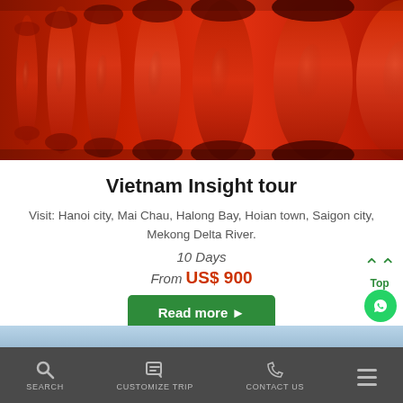[Figure (photo): Close-up photo of red ornamental wooden columns or balusters, characteristic of Vietnamese/Asian temple or bridge architecture]
Vietnam Insight tour
Visit: Hanoi city, Mai Chau, Halong Bay, Hoian town, Saigon city, Mekong Delta River.
10 Days
From US$ 900
Read more ▶
SEARCH  CUSTOMIZE TRIP  CONTACT US  ☰